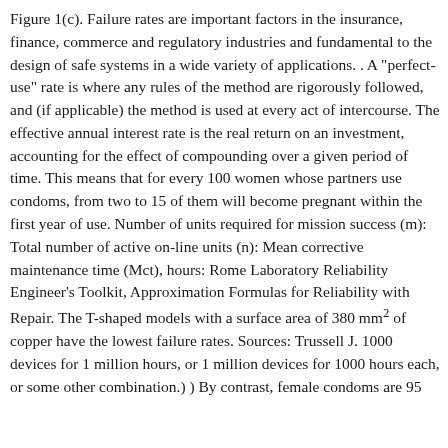Figure 1(c). Failure rates are important factors in the insurance, finance, commerce and regulatory industries and fundamental to the design of safe systems in a wide variety of applications. . A "perfect-use" rate is where any rules of the method are rigorously followed, and (if applicable) the method is used at every act of intercourse. The effective annual interest rate is the real return on an investment, accounting for the effect of compounding over a given period of time. This means that for every 100 women whose partners use condoms, from two to 15 of them will become pregnant within the first year of use. Number of units required for mission success (m): Total number of active on-line units (n): Mean corrective maintenance time (Mct), hours: Rome Laboratory Reliability Engineer's Toolkit, Approximation Formulas for Reliability with Repair. The T-shaped models with a surface area of 380 mm² of copper have the lowest failure rates. Sources: Trussell J. 1000 devices for 1 million hours, or 1 million devices for 1000 hours each, or some other combination.) ) By contrast, female condoms are 95